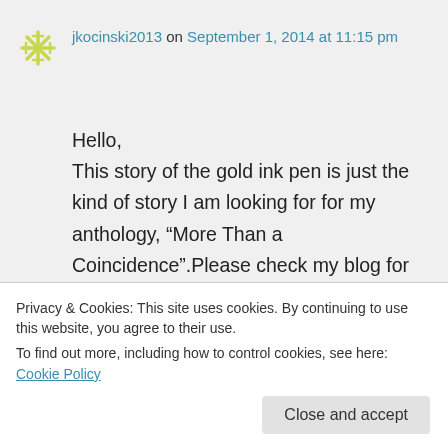jkocinski2013 on September 1, 2014 at 11:15 pm
Hello,
This story of the gold ink pen is just the kind of story I am looking for for my anthology, “More Than a Coincidence”.Please check my blog for more information on that. Thanks Joyce Kocinski
Like
Privacy & Cookies: This site uses cookies. By continuing to use this website, you agree to their use.
To find out more, including how to control cookies, see here: Cookie Policy
Close and accept